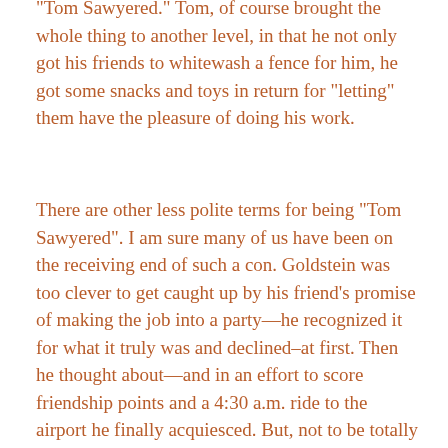“Tom Sawyered.” Tom, of course brought the whole thing to another level, in that he not only got his friends to whitewash a fence for him, he got some snacks and toys in return for “letting” them have the pleasure of doing his work.
There are other less polite terms for being “Tom Sawyered”. I am sure many of us have been on the receiving end of such a con. Goldstein was too clever to get caught up by his friend’s promise of making the job into a party—he recognized it for what it truly was and declined–at first. Then he thought about—and in an effort to score friendship points and a 4:30 a.m. ride to the airport he finally acquiesced. But, not to be totally “Tom Sawyered”, he demanded that there be expensive imported beer at the ready. And, oh yeah, he did not ask for the ride until after he had made his “friendship points”.